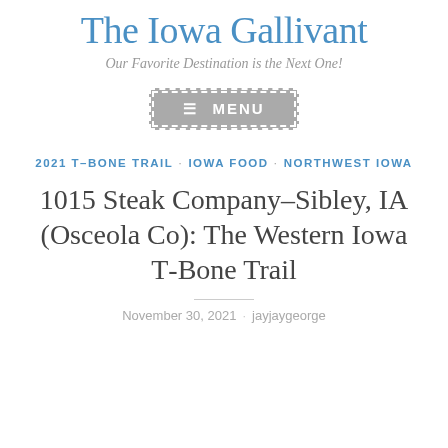The Iowa Gallivant
Our Favorite Destination is the Next One!
[Figure (other): Menu navigation button with hamburger icon and text MENU on grey background with dashed white border]
2021 T-BONE TRAIL · IOWA FOOD · NORTHWEST IOWA
1015 Steak Company–Sibley, IA (Osceola Co): The Western Iowa T-Bone Trail
November 30, 2021 · jayjaygeorge